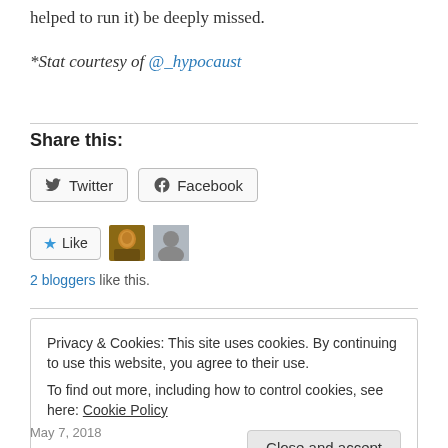helped to run it) be deeply missed.
*Stat courtesy of @_hypocaust
Share this:
Twitter  Facebook
★ Like  [avatar1] [avatar2]
2 bloggers like this.
Privacy & Cookies: This site uses cookies. By continuing to use this website, you agree to their use. To find out more, including how to control cookies, see here: Cookie Policy
Close and accept
May 7, 2018